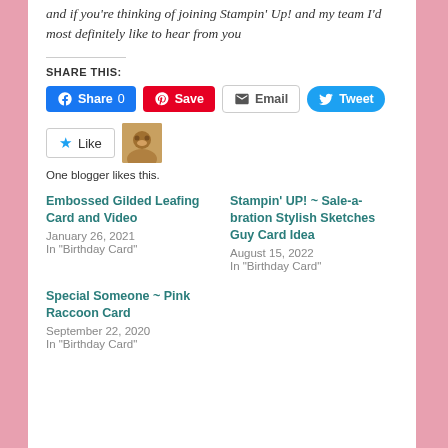and if you're thinking of joining Stampin' Up! and my team I'd most definitely like to hear from you
SHARE THIS:
Share 0 | Save | Email | Tweet
[Figure (other): Like button with star icon and blogger avatar thumbnail]
One blogger likes this.
Embossed Gilded Leafing Card and Video
January 26, 2021
In "Birthday Card"
Stampin' UP! ~ Sale-a-bration Stylish Sketches Guy Card Idea
August 15, 2022
In "Birthday Card"
Special Someone ~ Pink Raccoon Card
September 22, 2020
In "Birthday Card"